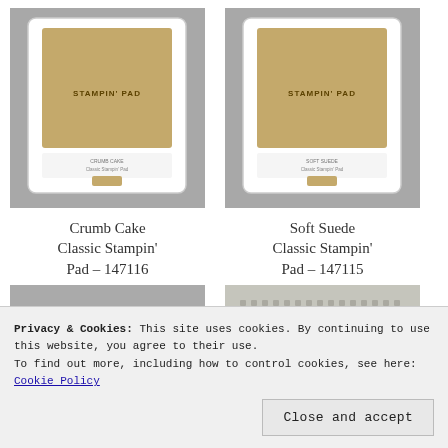[Figure (photo): Crumb Cake Classic Stampin' Pad product photo - ink pad with tan/brown color on gray background]
Crumb Cake Classic Stampin' Pad – 147116
[Figure (photo): Soft Suede Classic Stampin' Pad product photo - ink pad with tan/suede color on gray background]
Soft Suede Classic Stampin' Pad – 147115
[Figure (photo): Die cuts or stamps product photo showing various shapes on gray background]
[Figure (photo): Dots/embellishments product photo showing grid of small dots on light background]
Privacy & Cookies: This site uses cookies. By continuing to use this website, you agree to their use.
To find out more, including how to control cookies, see here: Cookie Policy
Close and accept